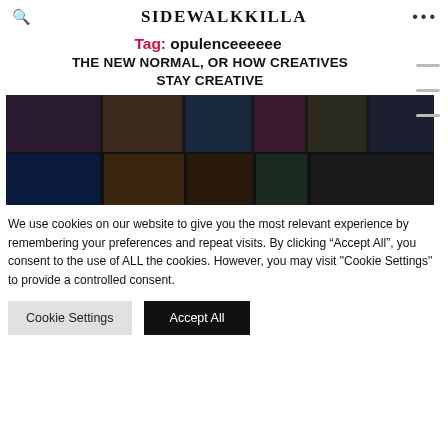SIDEWALKKILLA
Tag: opulenceeeeee
THE NEW NORMAL, OR HOW CREATIVES STAY CREATIVE
[Figure (photo): A collage of video call screenshots showing various performers and people in dramatic makeup and costumes.]
We use cookies on our website to give you the most relevant experience by remembering your preferences and repeat visits. By clicking “Accept All”, you consent to the use of ALL the cookies. However, you may visit "Cookie Settings" to provide a controlled consent.
Cookie Settings
Accept All